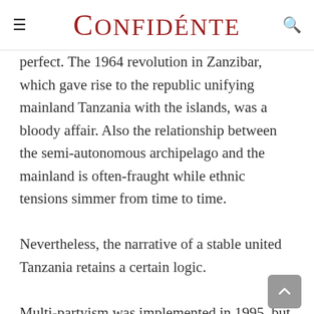≡ CONFIDÉNTE 🔍
perfect. The 1964 revolution in Zanzibar, which gave rise to the republic unifying mainland Tanzania with the islands, was a bloody affair. Also the relationship between the semi-autonomous archipelago and the mainland is often-fraught while ethnic tensions simmer from time to time.
Nevertheless, the narrative of a stable united Tanzania retains a certain logic.
Multi-partyism was implemented in 1995, but the ruling party, Chama Cha Mapinduzi, retained its dominance for at least a decade.
The status quo didn't change until the 2015 elections. John Magufuli – the little-known